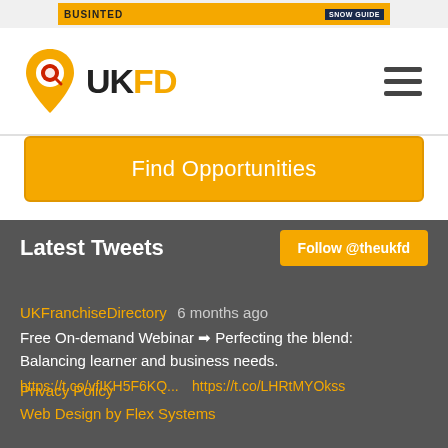[Figure (logo): UKFD logo with orange location pin icon and text UKFD]
[Figure (screenshot): Orange ad banner at the top with BUSINTED text and SNOW GUIDE badge]
Find Opportunities
Latest Tweets
Follow @theukfd
UKFranchiseDirectory 6 months ago
Free On-demand Webinar → Perfecting the blend: Balancing learner and business needs.
https://t.co/vfIKH5F6KQ... https://t.co/LHRtMYOkss
Privacy Policy
Web Design by Flex Systems